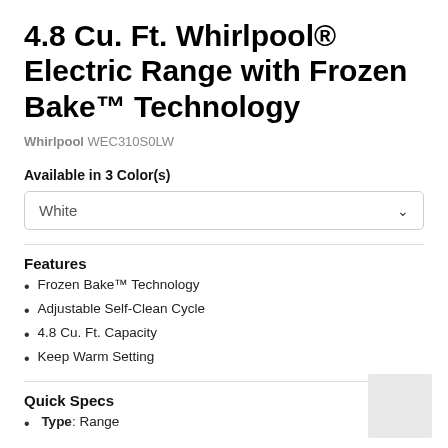4.8 Cu. Ft. Whirlpool® Electric Range with Frozen Bake™ Technology
Whirlpool WEC310S0LW
Available in 3 Color(s)
White
Features
Frozen Bake™ Technology
Adjustable Self-Clean Cycle
4.8 Cu. Ft. Capacity
Keep Warm Setting
Quick Specs
Type: Range